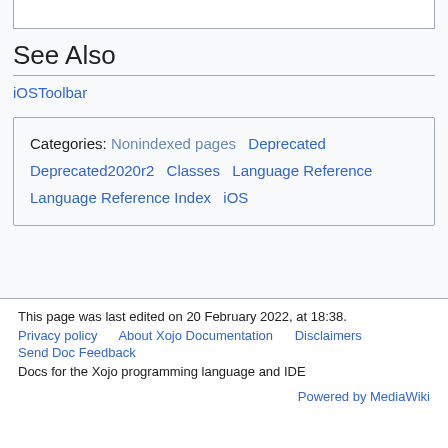[Figure (other): White box with border at top of page, partial content from above]
See Also
iOSToolbar
Categories: Nonindexed pages Deprecated Deprecated2020r2 Classes Language Reference Language Reference Index iOS
This page was last edited on 20 February 2022, at 18:38.
Privacy policy   About Xojo Documentation   Disclaimers
Send Doc Feedback
Docs for the Xojo programming language and IDE
Powered by MediaWiki